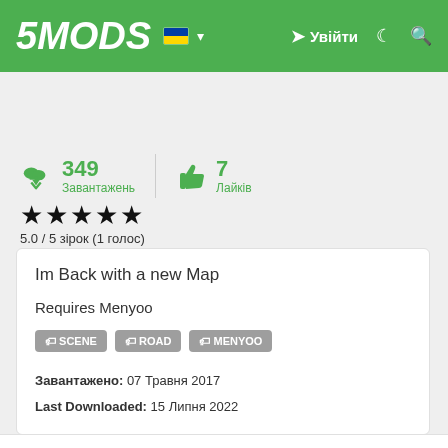5MODS — Увійти
349 Завантажень | 7 Лайків
5.0 / 5 зірок (1 голос)
Im Back with a new Map

Requires Menyoo
SCENE  ROAD  MENYOO
Завантажено: 07 Травня 2017
Last Downloaded: 15 Липня 2022